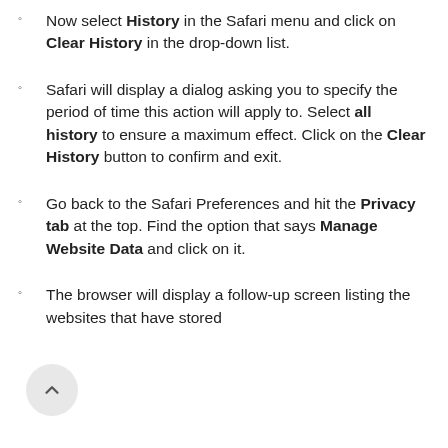Now select History in the Safari menu and click on Clear History in the drop-down list.
Safari will display a dialog asking you to specify the period of time this action will apply to. Select all history to ensure a maximum effect. Click on the Clear History button to confirm and exit.
Go back to the Safari Preferences and hit the Privacy tab at the top. Find the option that says Manage Website Data and click on it.
The browser will display a follow-up screen listing the websites that have stored